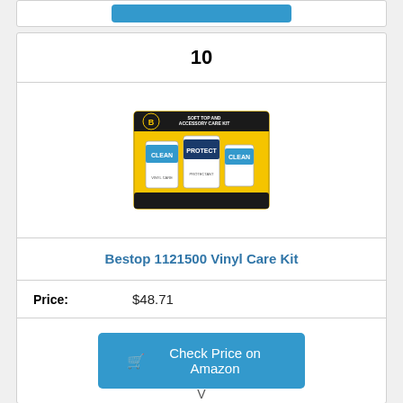10
[Figure (photo): Product box of Bestop Soft Top and Accessory Care Kit containing Clean, Protect, and Clean product bottles on a yellow background]
Bestop 1121500 Vinyl Care Kit
Price: $48.71
Check Price on Amazon
V